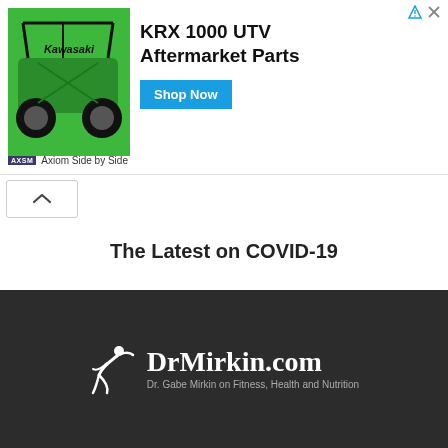[Figure (screenshot): Advertisement banner for KRX 1000 UTV Aftermarket Parts by Axiom Side by Side, featuring a green Kawasaki ATV image, bold text headline, and a blue 'Shop Now' button]
[Figure (screenshot): Collapse/chevron up arrow button on white background]
The Latest on COVID-19
[Figure (screenshot): Navigation previous and next arrow buttons]
[Figure (logo): DrMirkin.com logo with figure icon and tagline: Dr. Gabe Mirkin on Fitness, Health and Nutrition on dark background]